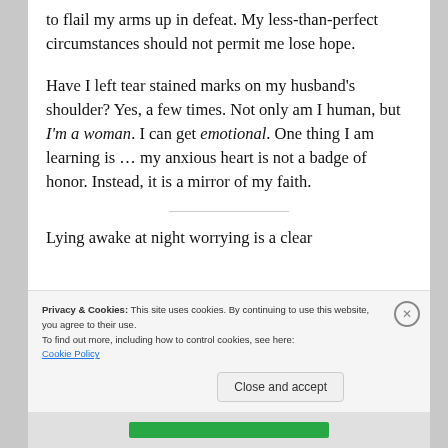to flail my arms up in defeat. My less-than-perfect circumstances should not permit me lose hope.
Have I left tear stained marks on my husband’s shoulder? Yes, a few times. Not only am I human, but I’m a woman. I can get emotional. One thing I am learning is … my anxious heart is not a badge of honor. Instead, it is a mirror of my faith.
Lying awake at night worrying is a clear
Privacy & Cookies: This site uses cookies. By continuing to use this website, you agree to their use.
To find out more, including how to control cookies, see here:
Cookie Policy
Close and accept